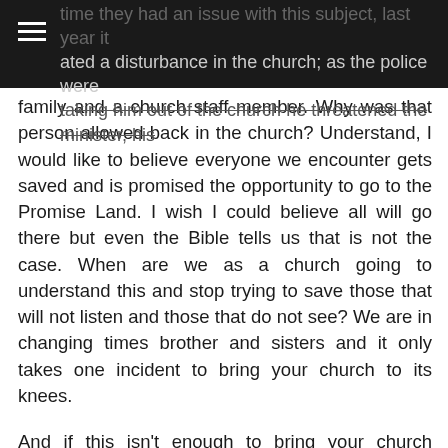time they had an issue with this subject, last year it created a disturbance in the church; as the police were taking him out of the church he threatened the minister, his
family and a church staff member.  Why was that person allowed back in the church?  Understand, I would like to believe everyone we encounter gets saved and is promised the opportunity to go to the Promise Land.  I wish I could believe all will go there but even the Bible tells us that is not the case.  When are we as a church going to understand this and stop trying to save those that will not listen and those that do not see?  We are in changing times brother and sisters and it only takes one incident to bring your church to its knees.
And if this isn't enough to bring your church leaders together and talk about the safety of your church, I will say this one more time, we are under attack.  Churches across the United States are seeing more and more vandalisms against their buildings.  Whatever your stance is on same